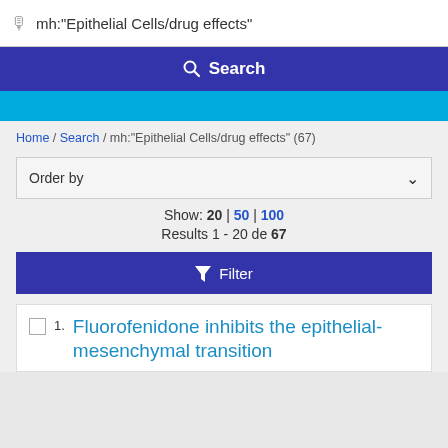mh:"Epithelial Cells/drug effects"
Search
Home / Search / mh:"Epithelial Cells/drug effects" (67)
Order by
Show: 20 | 50 | 100
Results 1 - 20 de 67
Filter
Fluorofenidone inhibits the epithelial-mesenchymal transition